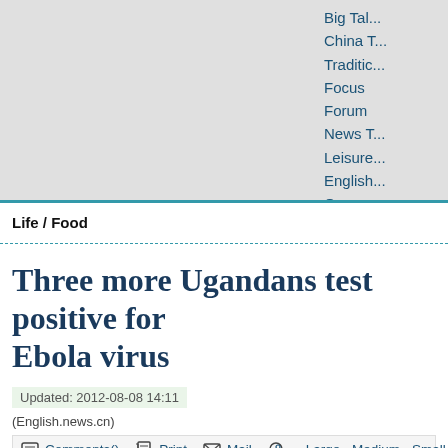Big Talk
China T
Traditic
Focus
Forum
News T
Leisure
English
Oversea
Europe
Life / Food
Three more Ugandans test positive for Ebola virus
Updated: 2012-08-08 14:11
(English.news.cn)
Comments()   Print   Mail   Large Medium Small
Three more people have tested positive of the deadly Ebola virus in t...